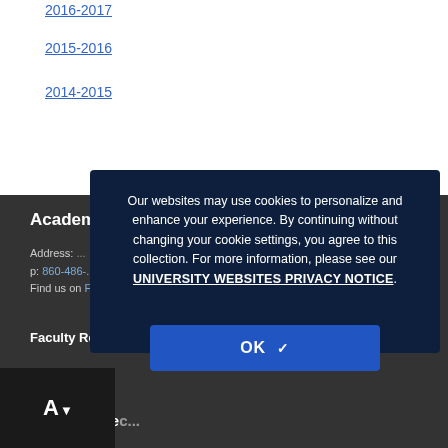2016-2017
2015-2016
2014-2015
Academic...
Address: ...
p: 860-486-... ke_slp@uconn.edu
Find us on Facebook and Twitter
Faculty Resources
UConn Spee... ... Clinic
Our websites may use cookies to personalize and enhance your experience. By continuing without changing your cookie settings, you agree to this collection. For more information, please see our UNIVERSITY WEBSITES PRIVACY NOTICE.
[Figure (other): OK button with checkmark for cookie consent]